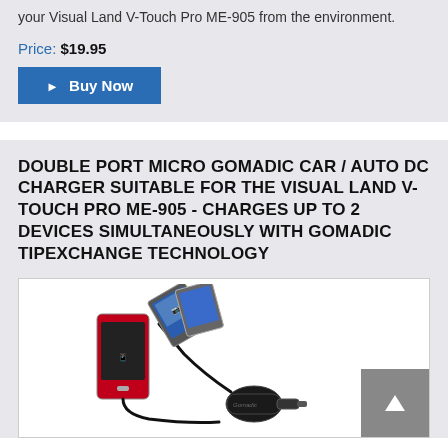your Visual Land V-Touch Pro ME-905 from the environment.
Price: $19.95
▶ Buy Now
DOUBLE PORT MICRO GOMADIC CAR / AUTO DC CHARGER SUITABLE FOR THE VISUAL LAND V-TOUCH PRO ME-905 - CHARGES UP TO 2 DEVICES SIMULTANEOUSLY WITH GOMADIC TIPEXCHANGE TECHNOLOGY
[Figure (photo): Product photo of a double port Gomadic car charger with two cables attached, one connected to a red smartphone and another to a tablet/device, with the black car charger plug shown.]